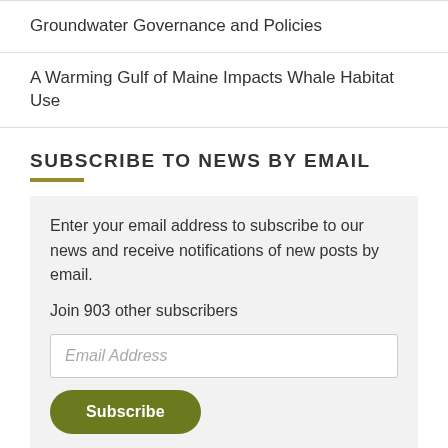Groundwater Governance and Policies
A Warming Gulf of Maine Impacts Whale Habitat Use
SUBSCRIBE TO NEWS BY EMAIL
Enter your email address to subscribe to our news and receive notifications of new posts by email.

Join 903 other subscribers